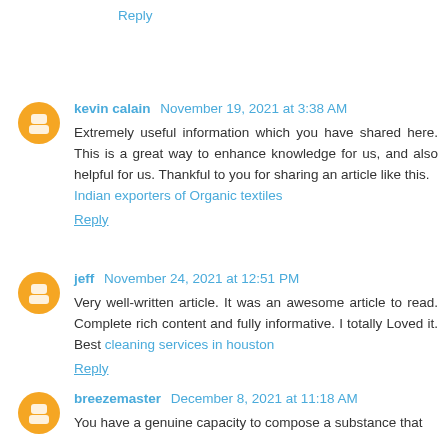Reply
kevin calain November 19, 2021 at 3:38 AM
Extremely useful information which you have shared here. This is a great way to enhance knowledge for us, and also helpful for us. Thankful to you for sharing an article like this. Indian exporters of Organic textiles
Reply
jeff November 24, 2021 at 12:51 PM
Very well-written article. It was an awesome article to read. Complete rich content and fully informative. I totally Loved it. Best cleaning services in houston
Reply
breezemaster December 8, 2021 at 11:18 AM
You have a genuine capacity to compose a substance that